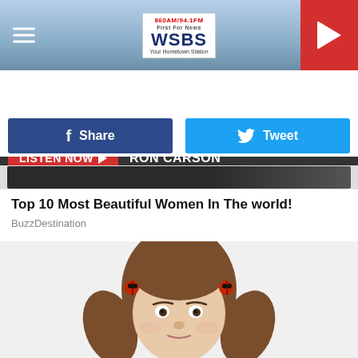[Figure (screenshot): WSBS radio station website header with logo '860AM/94.1FM WSBS Your Hometown Station', hamburger menu icon on left, red play button on right]
LISTEN NOW ▶  RON CARSON
[Figure (screenshot): Facebook Share button (blue) and Twitter Tweet button (light blue) side by side]
[Figure (photo): Partial advertisement image strip - dark/black background image]
Top 10 Most Beautiful Women In The world!
BuzzDestination
[Figure (photo): Woman with brown hair in two pigtails with red ladybug hair clips, looking straight at camera, white background]